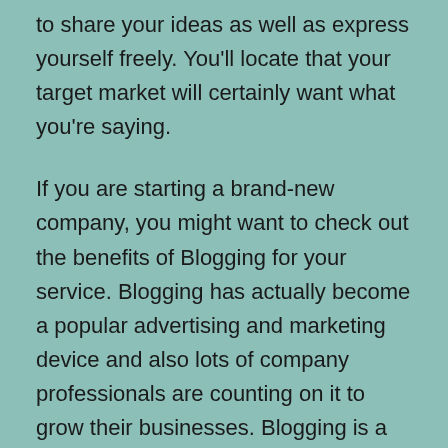to share your ideas as well as express yourself freely. You'll locate that your target market will certainly want what you're saying.
If you are starting a brand-new company, you might want to check out the benefits of Blogging for your service. Blogging has actually become a popular advertising and marketing device and also lots of company professionals are counting on it to grow their businesses. Blogging is a terrific method to advertise a business while functioning from residence. To begin, you will certainly need a blog domain. You can build this yourself if you